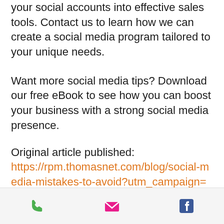your social accounts into effective sales tools. Contact us to learn how we can create a social media program tailored to your unique needs.
Want more social media tips? Download our free eBook to see how you can boost your business with a strong social media presence.
Original article published: https://rpm.thomasnet.com/blog/social-media-mistakes-to-avoid?utm_campaign=TomTalks&utm_source=hs_email&utm_medium=email&utm_content=54659788&_hsenc=p2ANqtz-
phone | email | facebook icons